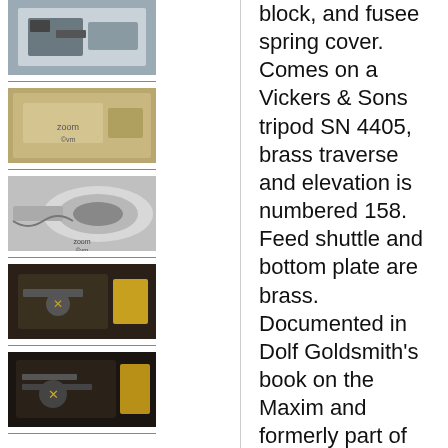[Figure (photo): Thumbnail photo of a machine gun part, close-up]
[Figure (photo): Thumbnail photo of gun mechanism close-up with 'zoom' watermark]
[Figure (photo): Thumbnail photo of cylindrical gun barrel with chain/links]
[Figure (photo): Thumbnail photo of gun receiver/action black and tan]
[Figure (photo): Thumbnail photo of gun mechanism dark background]
block, and fusee spring cover. Comes on a Vickers & Sons tripod SN 4405, brass traverse and elevation is numbered 158. Feed shuttle and bottom plate are brass. Documented in Dolf Goldsmith's book on the Maxim and formerly part of his collection, this gun was an attempt to capitalize on the Maxim name using Hiram's brother